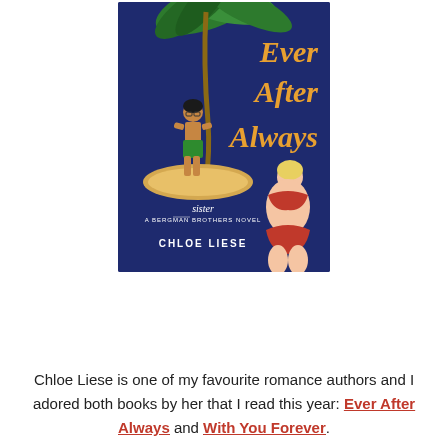[Figure (illustration): Book cover of 'Ever After Always' by Chloe Liese. Dark navy blue background with illustrated figures: a man in green swim trunks standing on a sandy island under a palm tree (top left), and a curvy woman in a red bikini (bottom right). Orange italic title text reads 'Ever After Always'. Subtitle reads 'sister / A BERGMAN BROTHERS NOVEL'. Author name CHLOE LIESE at the bottom in white.]
Chloe Liese is one of my favourite romance authors and I adored both books by her that I read this year: Ever After Always and With You Forever.